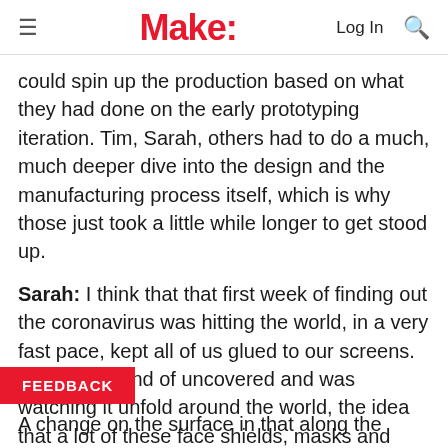Make:
could spin up the production based on what they had done on the early prototyping iteration. Tim, Sarah, others had to do a much, much deeper dive into the design and the manufacturing process itself, which is why those just took a little while longer to get stood up.
Sarah: I think that that first week of finding out the coronavirus was hitting the world, in a very fast pace, kept all of us glued to our screens. And as we kind of uncovered and was watching it unfold around the world, the idea that a lot of these face shields, masks and protective gear, actually came from like the
FEEDBACK
A change on the surface in that along the